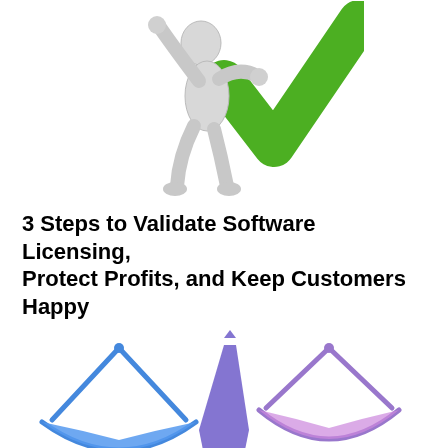[Figure (illustration): A white 3D cartoon figure holding up a large green checkmark]
3 Steps to Validate Software Licensing, Protect Profits, and Keep Customers Happy
[Figure (illustration): A balance scale illustration split into two parts: left side shows a blue scale bowl tipped down (heavier), center shows a purple vertical beam/post, right side shows a lavender/purple scale bowl also shown. Together they form a scale of justice graphic.]
Is It Better to Develop or Buy a Powerful